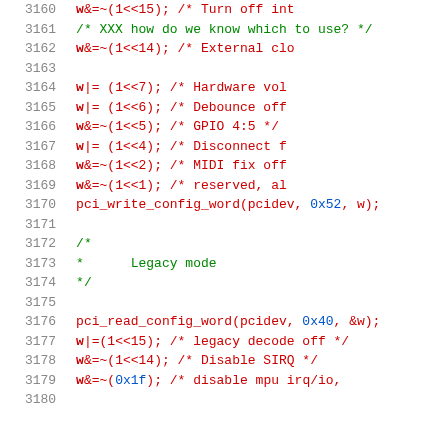Source code listing lines 3160-3180, showing C code with bit manipulation operations for audio hardware configuration including PCI config word reads/writes, legacy mode setup, and various hardware register settings.